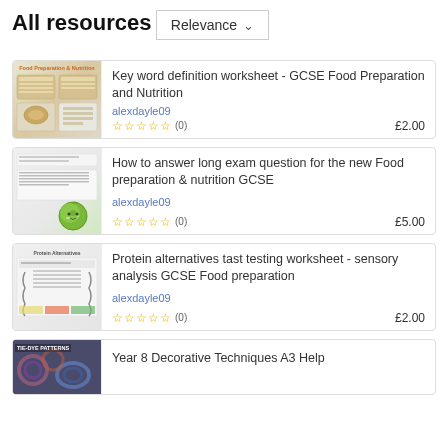All resources
Relevance ∨
Key word definition worksheet - GCSE Food Preparation and Nutrition | alexdayle09 | ☆☆☆☆☆ (0) | £2.00
How to answer long exam question for the new Food preparation & nutrition GCSE | alexdayle09 | ☆☆☆☆☆ (0) | £5.00
Protein alternatives tast testing worksheet - sensory analysis GCSE Food preparation | alexdayle09 | ☆☆☆☆☆ (0) | £2.00
Year 8 Decorative Techniques A3 Help